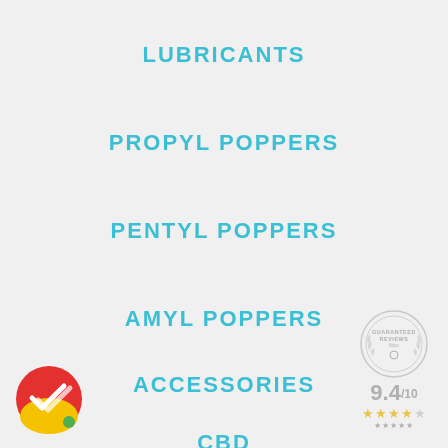LUBRICANTS
PROPYL POPPERS
PENTYL POPPERS
AMYL POPPERS
ACCESSORIES
CBD
[Figure (logo): Guaranteed Reviews badge with 9.4/10 rating and star icons]
[Figure (logo): Circular colorful logo with checkmark, red, yellow and green colors]